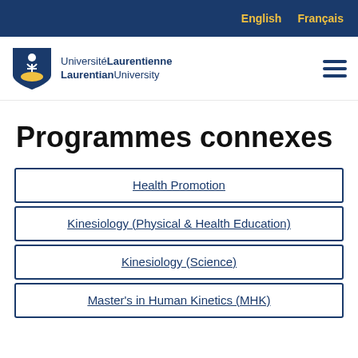English   Français
[Figure (logo): Laurentian University / Université Laurentienne shield logo with navigation bar]
Programmes connexes
Health Promotion
Kinesiology (Physical & Health Education)
Kinesiology (Science)
Master's in Human Kinetics (MHK)